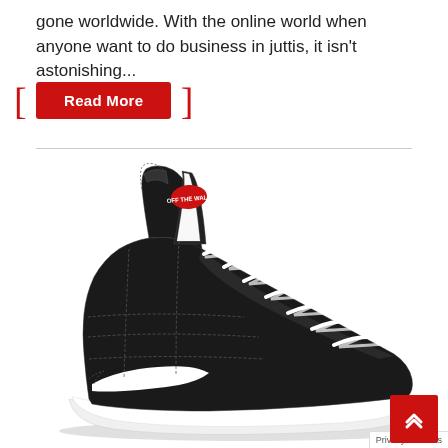gone worldwide. With the online world when anyone want to do business in juttis, it isn't astonishing...
Read More
[Figure (photo): Black and white Vans SK8-Hi high-top sneaker with white laces and iconic white side stripe, shown on white background]